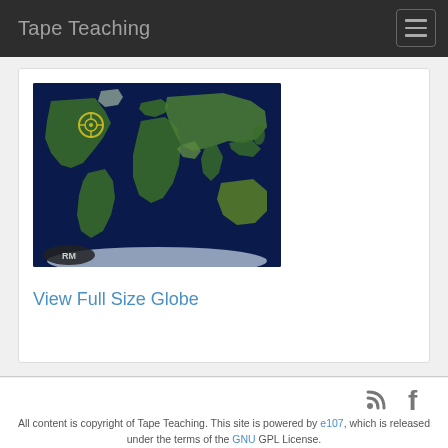Tape Teaching
[Figure (map): World map with satellite/topographic view on dark navy background, showing continents. A target/crosshair marker is visible in the North Atlantic/Caribbean region. A small oval 'RM' logo is in the bottom-left corner of the map.]
View Full Size Globe
All content is copyright of Tape Teaching. This site is powered by e107, which is released under the terms of the GNU GPL License.